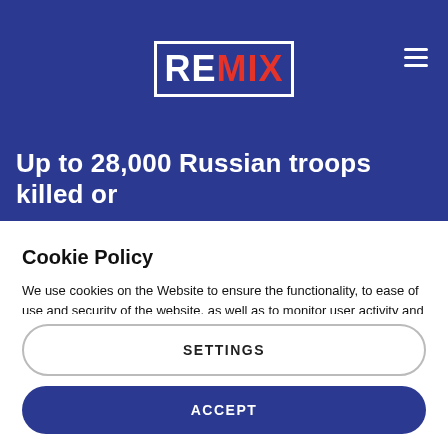[Figure (logo): REMIX news website logo — white box border with 'RE' in white and 'MIX' in red, on dark blue background]
Up to 28,000 Russian troops killed or
Cookie Policy
We use cookies on the Website to ensure the functionality, to ease of use and security of the website, as well as to monitor user activity and to collect information about your browsing habits in order to make advertising relevant to you and your interests.
Clicking on "Accept" you can allow all cookies. If you would like to reject or customize, please click on "Settings".
Read more: Cookie Policy
SETTINGS
ACCEPT